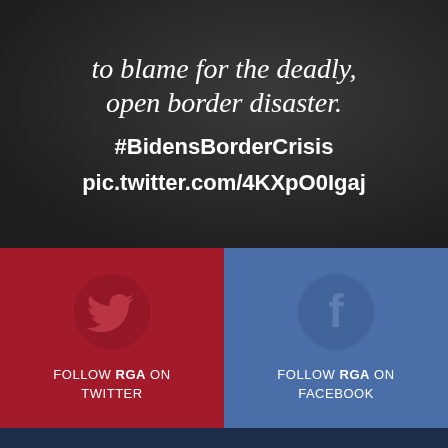to blame for the deadly, open border disaster.
#BidensBorderCrisis
pic.twitter.com/4KXpO0Igaj
[Figure (logo): Twitter bird icon on dark red background with text: FOLLOW RGA ON TWITTER]
[Figure (logo): Facebook f icon on blue background with text: FOLLOW RGA ON FACEBOOK]